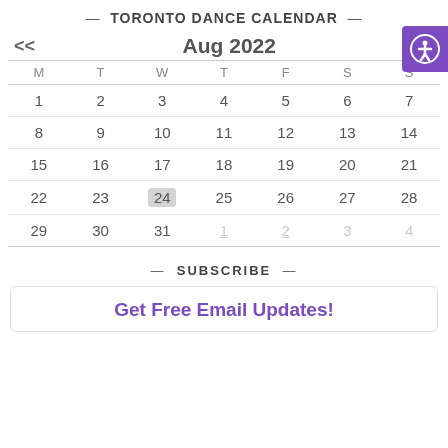— TORONTO DANCE CALENDAR —
| M | T | W | T | F | S | S |
| --- | --- | --- | --- | --- | --- | --- |
| 1 | 2 | 3 | 4 | 5 | 6 | 7 |
| 8 | 9 | 10 | 11 | 12 | 13 | 14 |
| 15 | 16 | 17 | 18 | 19 | 20 | 21 |
| 22 | 23 | 24 | 25 | 26 | 27 | 28 |
| 29 | 30 | 31 | 1 | 2 | 3 | 4 |
— SUBSCRIBE —
Get Free Email Updates!